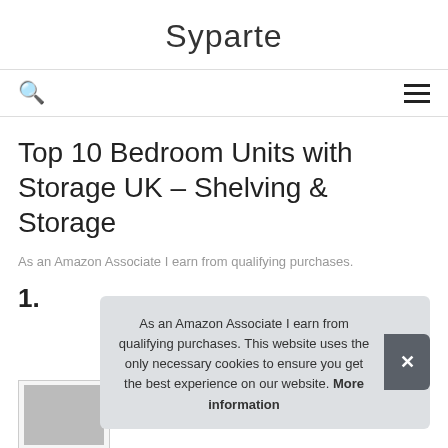Syparte
Top 10 Bedroom Units with Storage UK – Shelving & Storage
As an Amazon Associate I earn from qualifying purchases.
1.
As an Amazon Associate I earn from qualifying purchases. This website uses the only necessary cookies to ensure you get the best experience on our website. More information
[Figure (photo): Product image placeholder at bottom of page]